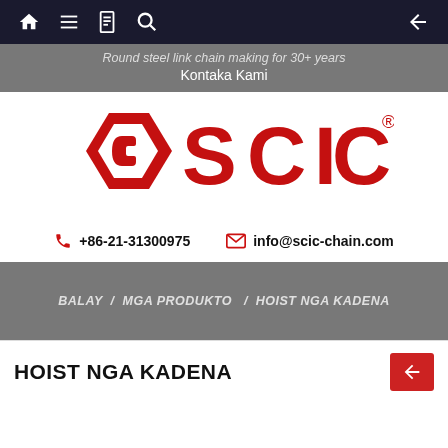Navigation bar with home, menu, document, search icons and back arrow
Round steel link chain making for 30+ years
Kontaka Kami
[Figure (logo): SCIC red logo with hexagonal chain link icon and bold red SCIC lettering with registered trademark symbol]
+86-21-31300975   info@scic-chain.com
BALAY  /  MGA PRODUKTO  /  HOIST NGA KADENA
HOIST NGA KADENA